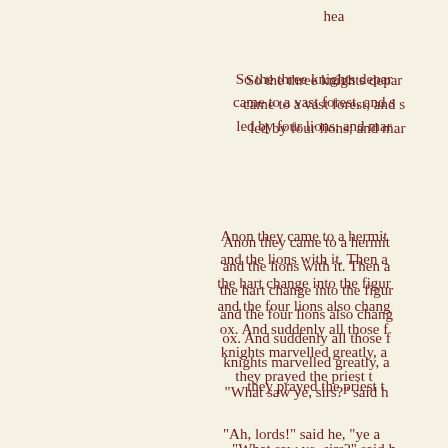hea
So the three knights depar came to a vast forest, and s led by four lions; and mar
Anon they came to a hermit and the lions with it. Then a the hart change into the figur and the four lions also chang ox. And suddenly all those f knights marvelled greatly, a they prayed the priest t
"What saw ye, sirs?" said h
"Ah, lords!" said he, "ye a knights who shall achiev mysteries are revealed. The without blemish, and the fo
When they heard that they
Anon, as they passed by a c after them, and cried out to